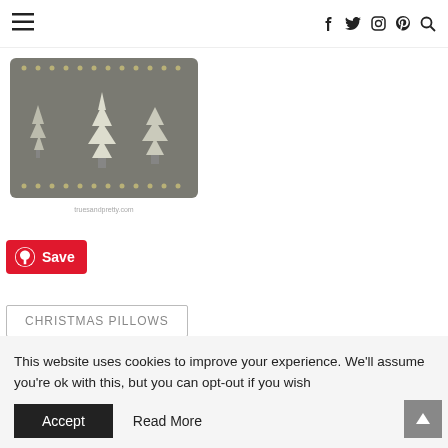Navigation bar with hamburger menu and social icons (facebook, twitter, instagram, pinterest, search)
[Figure (photo): Gray knitted Christmas pillow with three white Christmas tree designs and decorative dot border pattern. Watermark: truesandpretty.com]
Save
CHRISTMAS PILLOWS
This website uses cookies to improve your experience. We'll assume you're ok with this, but you can opt-out if you wish
Accept
Read More